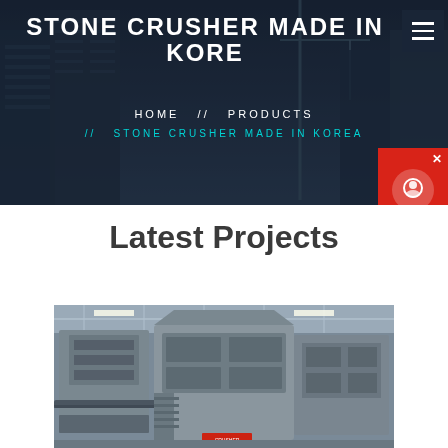STONE CRUSHER MADE IN KOREA
HOME // PRODUCTS // STONE CRUSHER MADE IN KOREA
Latest Projects
[Figure (photo): Industrial stone crusher machine in a factory/warehouse setting, showing large mechanical crushing equipment with metal framework and conveyor systems.]